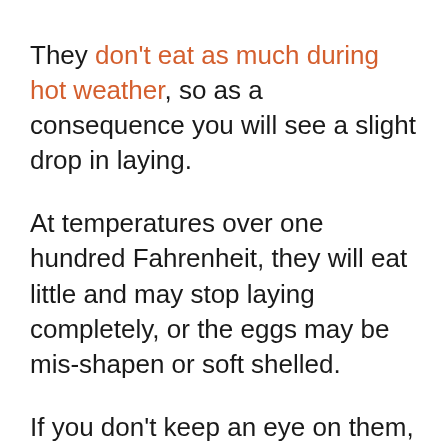They don't eat as much during hot weather, so as a consequence you will see a slight drop in laying.
At temperatures over one hundred Fahrenheit, they will eat little and may stop laying completely, or the eggs may be mis-shapen or soft shelled.
If you don't keep an eye on them, they can quickly reach the zone of heat prostration and will need to be cooled down. If the hen becomes unresponsive or has seizures you